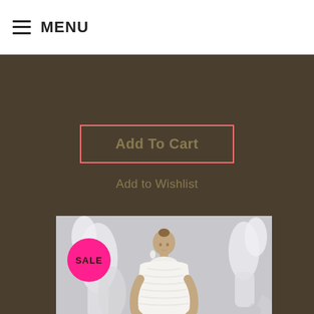MENU
Add To Cart
Add to Wishlist
[Figure (photo): A model wearing a white strapless mermaid-style wedding dress, standing in front of white sculptural decorations. A pink SALE badge is visible in the top-left corner of the image.]